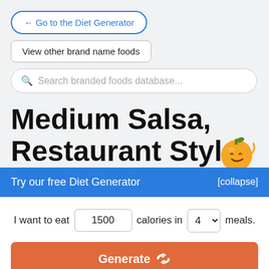← Go to the Diet Generator
View other brand name foods
Search branded foods database...
Medium Salsa, Restaurant Style
Try our free Diet Generator
[collapse]
I want to eat 1500 calories in 4 meals.
Generate